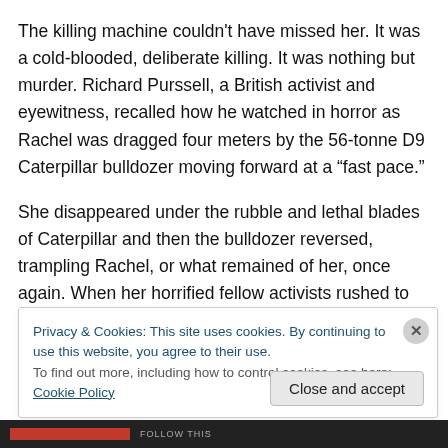The killing machine couldn't have missed her. It was a cold-blooded, deliberate killing. It was nothing but murder. Richard Purssell, a British activist and eyewitness, recalled how he watched in horror as Rachel was dragged four meters by the 56-tonne D9 Caterpillar bulldozer moving forward at a “fast pace.”
She disappeared under the rubble and lethal blades of Caterpillar and then the bulldozer reversed, trampling Rachel, or what remained of her, once again. When her horrified fellow activists rushed to her, she was still
Privacy & Cookies: This site uses cookies. By continuing to use this website, you agree to their use.
To find out more, including how to control cookies, see here: Cookie Policy
Close and accept